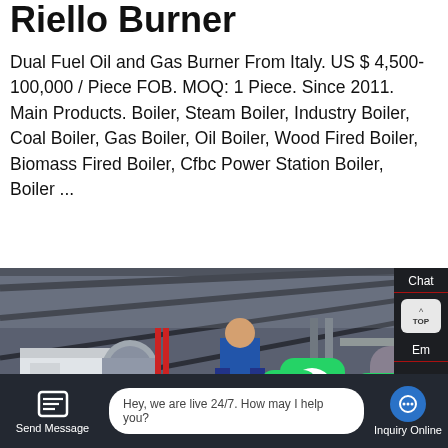Riello Burner
Dual Fuel Oil and Gas Burner From Italy. US $ 4,500-100,000 / Piece FOB. MOQ: 1 Piece. Since 2011. Main Products. Boiler, Steam Boiler, Industry Boiler, Coal Boiler, Gas Boiler, Oil Boiler, Wood Fired Boiler, Biomass Fired Boiler, Cfbc Power Station Boiler, Boiler ...
[Figure (screenshot): Learn More button (blue) overlaid on product listing text]
[Figure (photo): Industrial boiler facility interior with worker and equipment, WhatsApp contact overlay and chat sidebar]
Chat
Em
Contact
Contact us now!
Hey, we are live 24/7. How may I help you?
Send Message
Inquiry Online